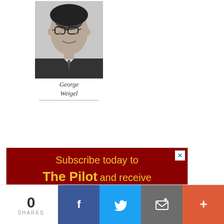[Figure (photo): Black and white headshot portrait of George Weigel, a man wearing glasses and a suit with tie]
George Weigel
[Figure (infographic): Dark red advertisement banner reading: Subscribe today to The Pilot and receive 1 month FREE! Click here for details. Shows two newspaper front pages at the bottom.]
0 SHARES
[Figure (infographic): Social share bar with Facebook (blue), Twitter (light blue), Email (gray), and More (+) (orange-red) buttons]